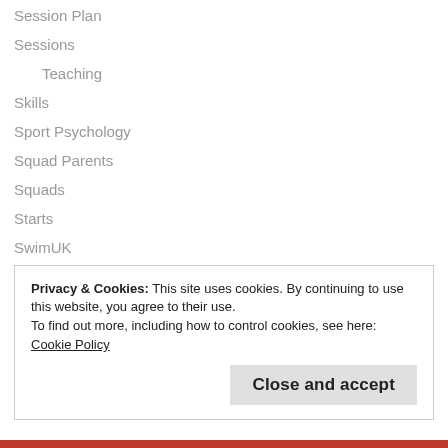Session Plan
Sessions
Teaching
Skills
Sport Psychology
Squad Parents
Squads
Starts
SwimUK
Teaching Group Parents
Teaching Groups
Promotion
Test Set
Training Group Parents
Privacy & Cookies: This site uses cookies. By continuing to use this website, you agree to their use.
To find out more, including how to control cookies, see here: Cookie Policy
Close and accept